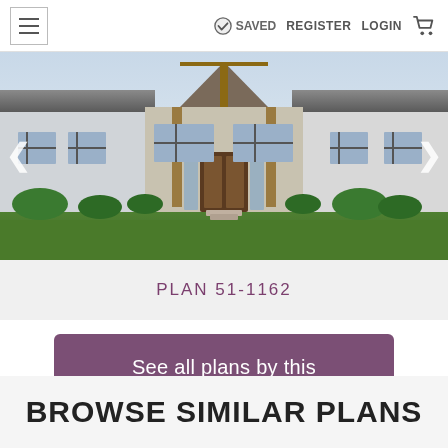≡  SAVED  REGISTER  LOGIN  🛒
[Figure (photo): Front exterior of a modern farmhouse-style single-story home with wood-accented gabled entry porch, large windows, white/grey exterior, brick walkway, and green lawn.]
PLAN 51-1162
See all plans by this designer
BROWSE SIMILAR PLANS